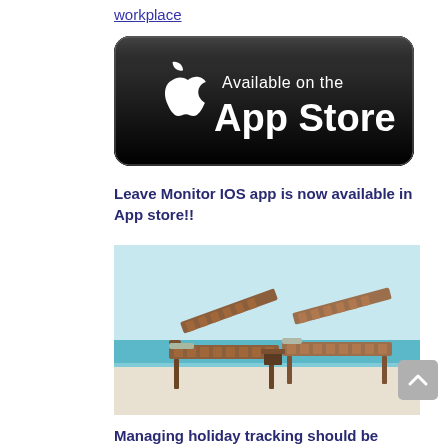workplace
[Figure (logo): App Store badge - black rounded rectangle with Apple logo and text 'Available on the App Store']
Leave Monitor IOS app is now available in App store!!
[Figure (photo): Two wooden beach lounge chairs on a sandy beach with clear blue water and sky in the background]
Managing holiday tracking should be